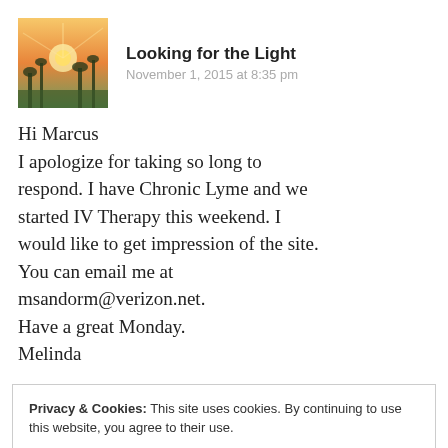[Figure (photo): Avatar photo showing a nature/sunset scene with plants and light]
Looking for the Light
November 1, 2015 at 8:35 pm
Hi Marcus
I apologize for taking so long to respond. I have Chronic Lyme and we started IV Therapy this weekend. I would like to get impression of the site. You can email me at msandorm@verizon.net.
Have a great Monday.
Melinda
Privacy & Cookies: This site uses cookies. By continuing to use this website, you agree to their use.
To find out more, including how to control cookies, see here: Cookie Policy
Close and accept
christnaurn
November 5, 2015 at 2:32 pm